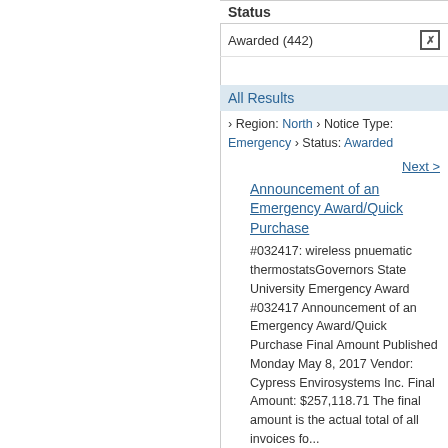Status
Awarded (442)
All Results
› Region: North › Notice Type: Emergency › Status: Awarded
Next >
Announcement of an Emergency Award/Quick Purchase
#032417: wireless pnuematic thermostatsGovernors State University Emergency Award #032417 Announcement of an Emergency Award/Quick Purchase Final Amount Published Monday May 8, 2017 Vendor: Cypress Envirosystems Inc. Final Amount: $257,118.71 The final amount is the actual total of all invoices fo...
GSU
Emergency
Awarded
Opening Date: 2/20/17